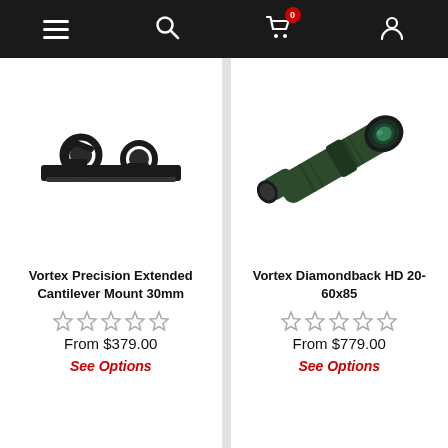Navigation bar with menu, search, cart (0 items), and account icons
[Figure (photo): Vortex Precision Extended Cantilever Mount 30mm — black scope mount with two rings on a rail]
Vortex Precision Extended Cantilever Mount 30mm
From $379.00
See Options
[Figure (photo): Vortex Diamondback HD 20-60x85 — angled spotting scope, dark green body with a large objective lens]
Vortex Diamondback HD 20-60x85
From $779.00
See Options